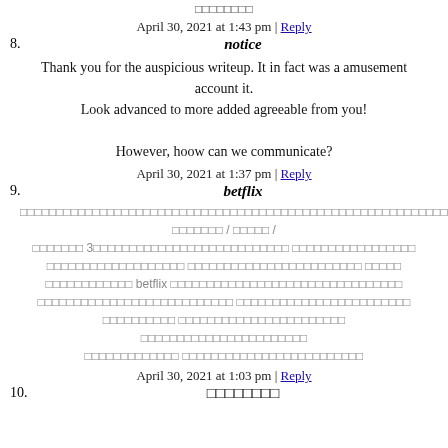xxxxxxxx
April 30, 2021 at 1:43 pm | Reply
8. notice
Thank you for the auspicious writeup. It in fact was a amusement account it.
Look advanced to more added agreeable from you!

However, hoow can we communicate?
April 30, 2021 at 1:37 pm | Reply
9. betflix
[Thai text block about betflix]
April 30, 2021 at 1:03 pm | Reply
10. xxxxxxxx